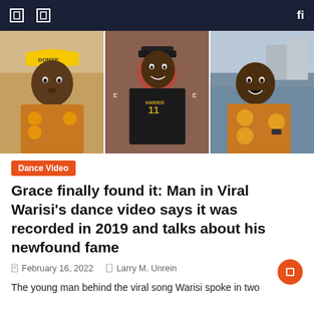Navigation bar with menu icons and search
[Figure (photo): Three photos of a young Nigerian man: left - wearing a yellow cap and colorful patterned shirt; center - wearing a black jersey number 11 standing in front of a banner; right - in a colorful patterned shirt in front of a large crowd]
Dance Video
Grace finally found it: Man in Viral Warisi's dance video says it was recorded in 2019 and talks about his newfound fame
February 16, 2022   Larry M. Unrein
The young man behind the viral song Warisi spoke in two